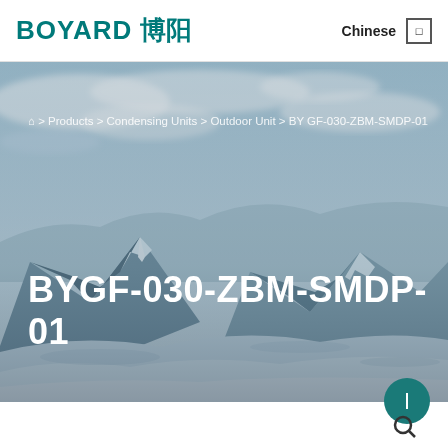BOYARD 博阳  Chinese
[Figure (photo): Snow-covered mountain landscape under a cloudy sky, serving as hero background image for the product page.]
⌂ > Products > Condensing Units > Outdoor Unit > BY GF-030-ZBM-SMDP-01
BYGF-030-ZBM-SMDP-01